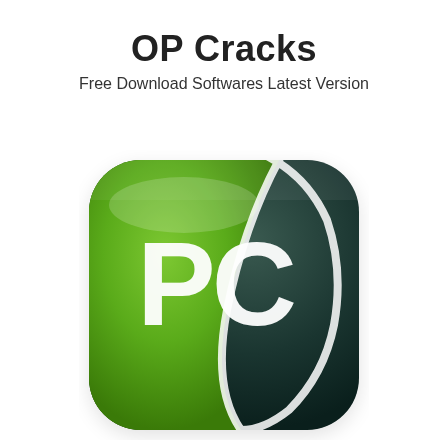OP Cracks
Free Download Softwares Latest Version
[Figure (logo): PC Matic / PC repair software logo: a rounded-square icon with a glossy green background featuring the letters 'PC' in white, with a dark teal curved swoosh shape on the right side forming a stylized design element.]